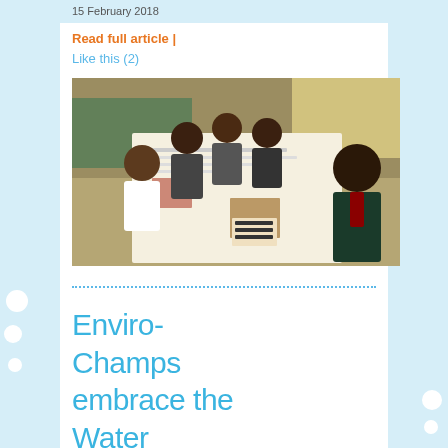15 February 2018
Read full article  |
Like this (2)
[Figure (photo): Group of African schoolchildren holding up a large poster/project board in a classroom setting]
Enviro-Champs embrace the Water Explorer Programme